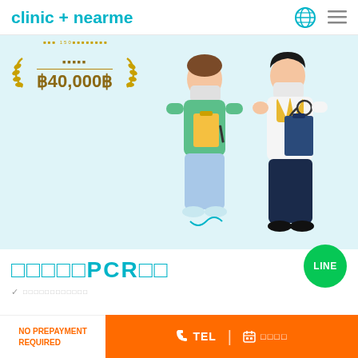clinic + nearme
[Figure (illustration): Hero banner with light blue background showing a patient and a doctor (wearing mask and stethoscope, holding clipboard), with award badge showing ฿40,000 price]
□□□□□PCR□□
✓ □□□□□□□□□□□□
NO PREPAYMENT REQUIRED
TEL | □□□□